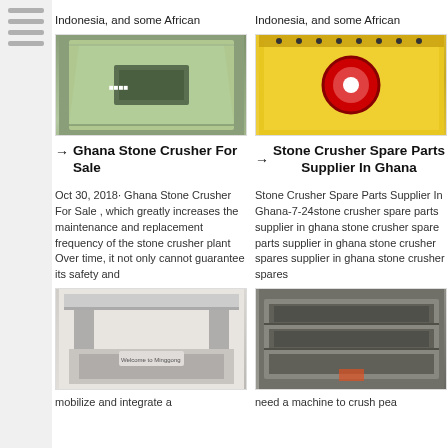Indonesia, and some African
[Figure (photo): Machinery wrapped in plastic/green packaging]
→ Ghana Stone Crusher For Sale
Oct 30, 2018· Ghana Stone Crusher For Sale , which greatly increases the maintenance and replacement frequency of the stone crusher plant Over time, it not only cannot guarantee its safety and
[Figure (photo): Minggong company lobby/showroom interior with welcome sign]
mobilize and integrate a
Indonesia, and some African
[Figure (photo): Yellow stone crusher machine with red circular element]
→ Stone Crusher Spare Parts Supplier In Ghana
Stone Crusher Spare Parts Supplier In Ghana-7-24stone crusher spare parts supplier in ghana stone crusher spare parts supplier in ghana stone crusher spares supplier in ghana stone crusher spares
[Figure (photo): Industrial screening/sieving equipment, grey metal machine]
need a machine to crush pea